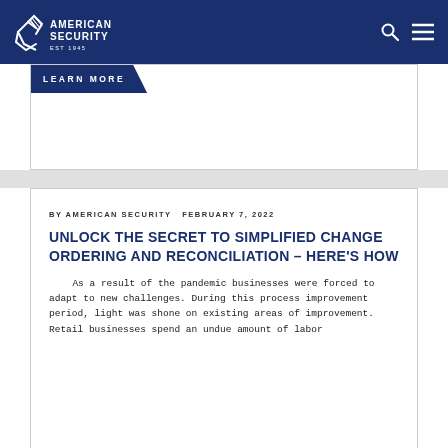American Security EST 1948
LEARN MORE
BY AMERICAN SECURITY  FEBRUARY 7, 2022
UNLOCK THE SECRET TO SIMPLIFIED CHANGE ORDERING AND RECONCILIATION – HERE'S HOW
As a result of the pandemic businesses were forced to adapt to new challenges. During this process improvement period, light was shone on existing areas of improvement. Retail businesses spend an undue amount of labor